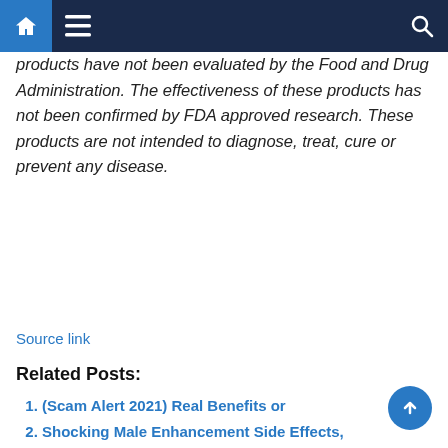Navigation bar with home, menu, and search icons
products have not been evaluated by the Food and Drug Administration. The effectiveness of these products has not been confirmed by FDA approved research. These products are not intended to diagnose, treat, cure or prevent any disease.
Source link
Related Posts:
(Scam Alert 2021) Real Benefits or
Shocking Male Enhancement Side Effects, Ingredients, Benefits & Complaints – Daily Film
New Flow XL Reviews: Is This Legit Male Enhancement Pill Or Scam?